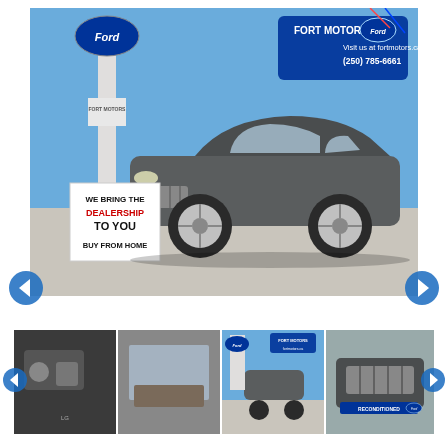[Figure (photo): Large main photo of a dark grey Chevrolet Tahoe SUV in a Ford dealership (Fort Motors) parking lot. A sign on the left reads 'WE BRING THE DEALERSHIP TO YOU BUY FROM HOME'. Fort Motors Ford logo and signage visible in upper right corner with 'Visit us at fortmotors.ca (250) 785-6661'. Navigation arrows (left/right) on either side below the image.]
[Figure (photo): Thumbnail strip showing four smaller photos of the same Chevrolet Tahoe: interior dashboard controls, rear interior seating area, full exterior shot at dealership, and front grille close-up with 'RECONDITIONED' badge. Left and right navigation arrows on either side.]